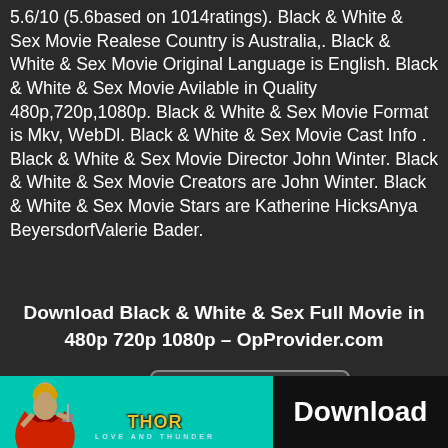5.6/10 (5.6based on 1014ratings). Black & White & Sex Movie Realese Country is Australia,. Black & White & Sex Movie Original Language is English. Black & White & Sex Movie Avilable in Quality 480p,720p,1080p. Black & White & Sex Movie Format is Mkv, WebDl. Black & White & Sex Movie Cast Info . Black & White & Sex Movie Director John Winter. Black & White & Sex Movie Creators are John Winter. Black & White & Sex Movie Stars are Katherine HicksAnya BeyersdorfValerie Bader.
Download Black & White & Sex Full Movie in 480p 720p 1080p – OpProvider.com
[Figure (screenshot): A shortcut UI box with label 'Shortcut' and a menu icon on the right, displayed on a dark background.]
[Figure (photo): Advertisement banner with teal background showing Thor character figure on the left, Thor Love and Thunder logo in the center, and a black Download button on the right.]